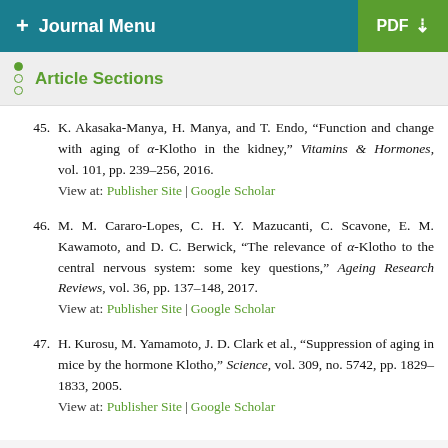+ Journal Menu | PDF
Article Sections
45. K. Akasaka-Manya, H. Manya, and T. Endo, “Function and change with aging of α-Klotho in the kidney,” Vitamins & Hormones, vol. 101, pp. 239–256, 2016. View at: Publisher Site | Google Scholar
46. M. M. Cararo-Lopes, C. H. Y. Mazucanti, C. Scavone, E. M. Kawamoto, and D. C. Berwick, “The relevance of α-Klotho to the central nervous system: some key questions,” Ageing Research Reviews, vol. 36, pp. 137–148, 2017. View at: Publisher Site | Google Scholar
47. H. Kurosu, M. Yamamoto, J. D. Clark et al., “Suppression of aging in mice by the hormone Klotho,” Science, vol. 309, no. 5742, pp. 1829–1833, 2005. View at: Publisher Site | Google Scholar